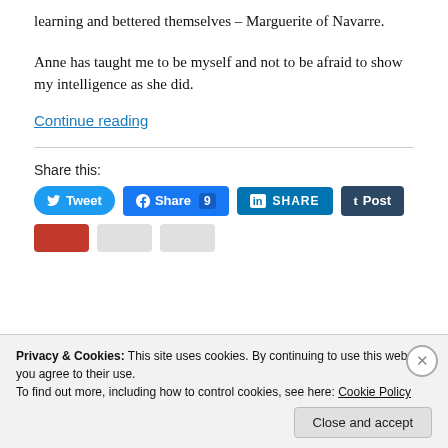learning and bettered themselves – Marguerite of Navarre.
Anne has taught me to be myself and not to be afraid to show my intelligence as she did.
Continue reading
Share this:
Privacy & Cookies: This site uses cookies. By continuing to use this website, you agree to their use. To find out more, including how to control cookies, see here: Cookie Policy
Close and accept